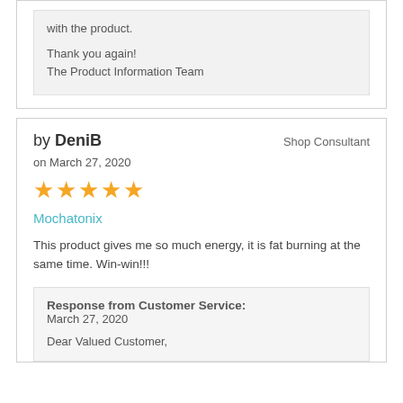with the product.
Thank you again!
The Product Information Team
by DeniB
Shop Consultant
on March 27, 2020
[Figure (other): 5 gold stars rating]
Mochatonix
This product gives me so much energy, it is fat burning at the same time. Win-win!!!
Response from Customer Service:
March 27, 2020
Dear Valued Customer,